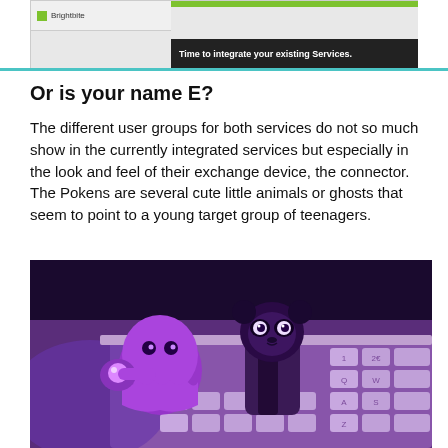[Figure (screenshot): Screenshot of Brightbite service interface showing green bar at top, logo and name 'Brightbite' on left panel, and black bar with text 'Time to integrate your existing Services.' on the right.]
Or is your name E?
The different user groups for both services do not so much show in the currently integrated services but especially in the look and feel of their exchange device, the connector. The Pokens are several cute little animals or ghosts that seem to point to a young target group of teenagers.
[Figure (photo): Photo of two Poken devices (cute animal-shaped USB connectors) on a purple-lit laptop keyboard. One is a ghost-like figure and the other is a panda character, both glowing purple/violet.]